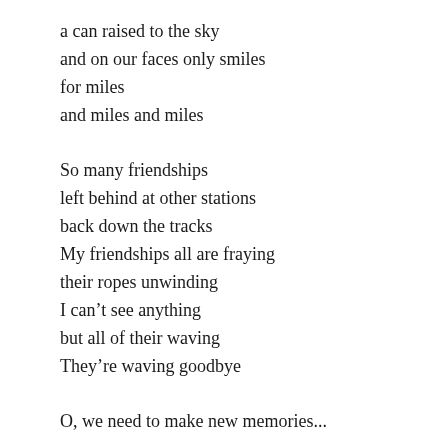a can raised to the sky
and on our faces only smiles
for miles
and miles and miles
So many friendships
left behind at other stations
back down the tracks
My friendships all are fraying
their ropes unwinding
I can't see anything
but all of their waving
They're waving goodbye
O, we need to make new memories...
Alone on the stones
eyes cast out across the water
churning